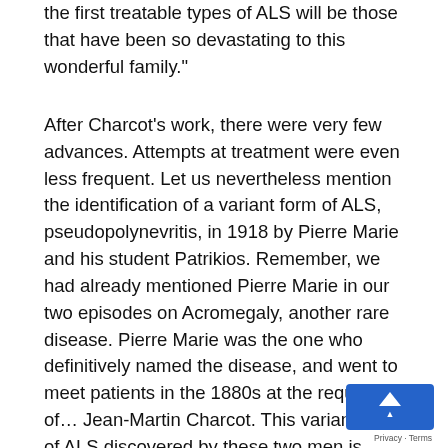the first treatable types of ALS will be those that have been so devastating to this wonderful family."
After Charcot's work, there were very few advances. Attempts at treatment were even less frequent. Let us nevertheless mention the identification of a variant form of ALS, pseudopolynevritis, in 1918 by Pierre Marie and his student Patrikios. Remember, we had already mentioned Pierre Marie in our two episodes on Acromegaly, another rare disease. Pierre Marie was the one who definitively named the disease, and went to meet patients in the 1880s at the request of… Jean-Martin Charcot. This variant form of ALS discovered by these two men is therefore characterized by an involvement of the legs, whereas the vast majority of forms of ALS affect the arms, by a slow progression due to a lack of the...